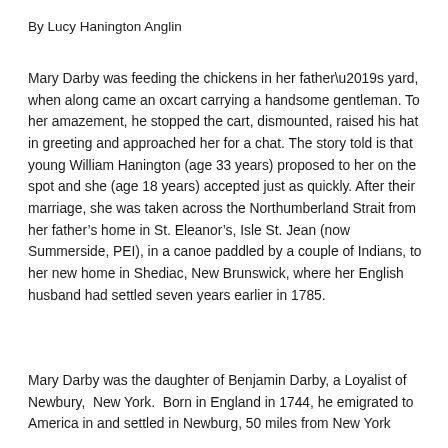By Lucy Hanington Anglin
Mary Darby was feeding the chickens in her father’s yard, when along came an oxcart carrying a handsome gentleman. To her amazement, he stopped the cart, dismounted, raised his hat in greeting and approached her for a chat.  The story told is that young William Hanington (age 33 years) proposed to her on the spot and she (age 18 years) accepted just as quickly. After their marriage, she was taken across the Northumberland Strait from her father’s home in St. Eleanor’s, Isle St. Jean (now Summerside, PEI), in a canoe paddled by a couple of Indians, to her new home in Shediac, New Brunswick, where her English husband had settled seven years earlier in 1785.
Mary Darby was the daughter of Benjamin Darby, a Loyalist of Newbury,  New York.  Born in England in 1744, he emigrated to America in and settled in Newburg, 50 miles from New York